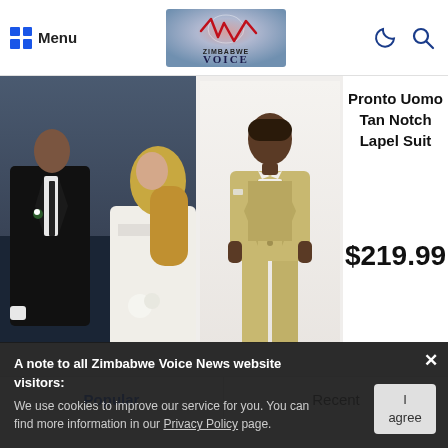Menu | Zimbabwe Voice | (moon icon) (search icon)
[Figure (photo): Couple at a wedding, man in black suit and woman in white dress]
[Figure (photo): Man wearing a tan notch lapel suit (Pronto Uomo)]
Pronto Uomo Tan Notch Lapel Suit
$219.99
Popular
Recent
A note to all Zimbabwe Voice News website visitors:
We use cookies to improve our service for you. You can find more information in our Privacy Policy page.
I agree